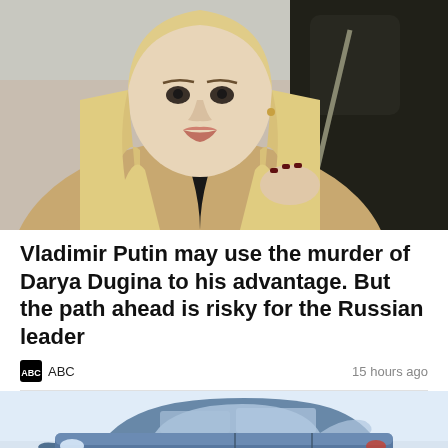[Figure (photo): A young blonde woman takes a selfie in a car, wearing a beige coat, looking toward the camera with a serious expression. Car interior is dark leather.]
Vladimir Putin may use the murder of Darya Dugina to his advantage. But the path ahead is risky for the Russian leader
ABC  15 hours ago
[Figure (photo): A dark-colored sedan automobile photographed against a light grey sky background, viewed from the side. The car appears to be a luxury sedan.]